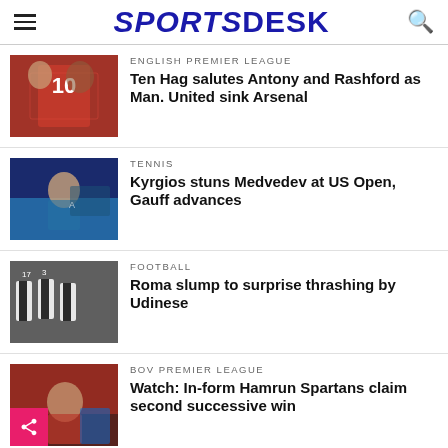SPORTSDESK
ENGLISH PREMIER LEAGUE
Ten Hag salutes Antony and Rashford as Man. United sink Arsenal
[Figure (photo): A Manchester United player wearing jersey number 10 being hugged/congratulated by coaching staff]
TENNIS
Kyrgios stuns Medvedev at US Open, Gauff advances
[Figure (photo): A tennis player celebrating/shouting on court]
FOOTBALL
Roma slump to surprise thrashing by Udinese
[Figure (photo): Football players in black and white striped jerseys (Udinese) celebrating]
BOV PREMIER LEAGUE
Watch: In-form Hamrun Spartans claim second successive win
[Figure (photo): Football players in red jerseys during a match]
[Figure (photo): Advertisement banner at the bottom of the page]